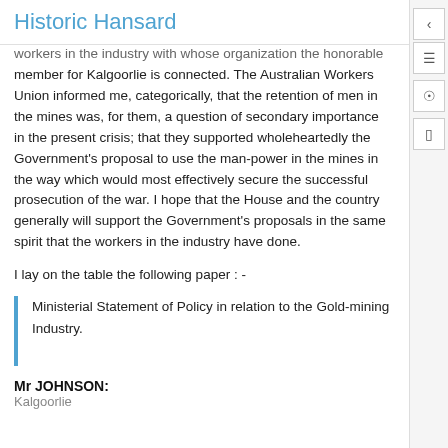Historic Hansard
workers in the industry with whose organization the honorable member for Kalgoorlie is connected. The Australian Workers Union informed me, categorically, that the retention of men in the mines was, for them, a question of secondary importance in the present crisis; that they supported wholeheartedly the Government's proposal to use the man-power in the mines in the way which would most effectively secure the successful prosecution of the war. I hope that the House and the country generally will support the Government's proposals in the same spirit that the workers in the industry have done.
I lay on the table the following paper : -
Ministerial Statement of Policy in relation to the Gold-mining Industry.
Mr JOHNSON:
Kalgoorlie